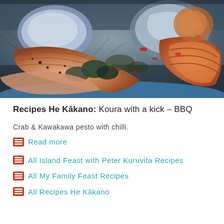[Figure (photo): Close-up photo of cooked seafood — prawns, mussels, crayfish/koura — on a blue plate, with red chilli pieces and herb pesto sauce]
Recipes He Kākano: Koura with a kick – BBQ
Crab & Kawakawa pesto with chilli.
Read more
All Island Feast with Peter Kuruvita Recipes
All My Family Feast Recipes
All Recipes He Kākano